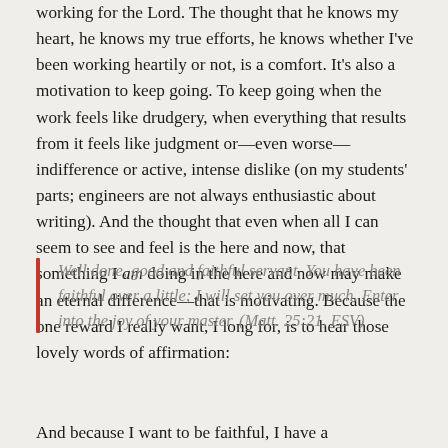working for the Lord. The thought that he knows my heart, he knows my true efforts, he knows whether I've been working heartily or not, is a comfort. It's also a motivation to keep going. To keep going when the work feels like drudgery, when everything that results from it feels like judgment or—even worse—indifference or active, intense dislike (on my students' parts; engineers are not always enthusiastic about writing). And the thought that even when all I can seem to see and feel is the here and now, that something I am doing in the here and now may make an eternal difference—that is motivating. Because the one reward I really want, I long for, is to hear those lovely words of affirmation:
Well done, good and faithful servant. You have been faithful over a little; I will set you over much. Enter into the joy of your master. (Matt. 25:21, ESV)
And because I want to be faithful, I have a